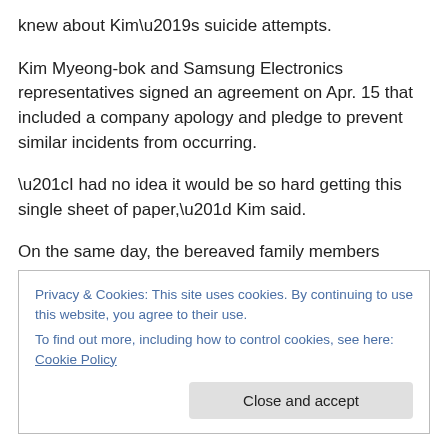knew about Kim’s suicide attempts.
Kim Myeong-bok and Samsung Electronics representatives signed an agreement on Apr. 15 that included a company apology and pledge to prevent similar incidents from occurring.
“I had no idea it would be so hard getting this single sheet of paper,” Kim said.
On the same day, the bereaved family members withdrew a January petition to the Cheonan branch of the Ministry of
Privacy & Cookies: This site uses cookies. By continuing to use this website, you agree to their use.
To find out more, including how to control cookies, see here: Cookie Policy